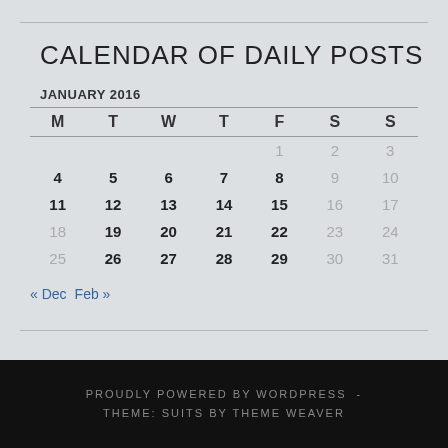CALENDAR OF DAILY POSTS
JANUARY 2016
| M | T | W | T | F | S | S |
| --- | --- | --- | --- | --- | --- | --- |
|  |  |  |  | 1 | 2 | 3 |
| 4 | 5 | 6 | 7 | 8 | 9 | 10 |
| 11 | 12 | 13 | 14 | 15 | 16 | 17 |
| 18 | 19 | 20 | 21 | 22 | 23 | 24 |
| 25 | 26 | 27 | 28 | 29 | 30 | 31 |
« Dec   Feb »
PROUDLY POWERED BY WORDPRESS - THEME: SUITS BY THEME WEAVER